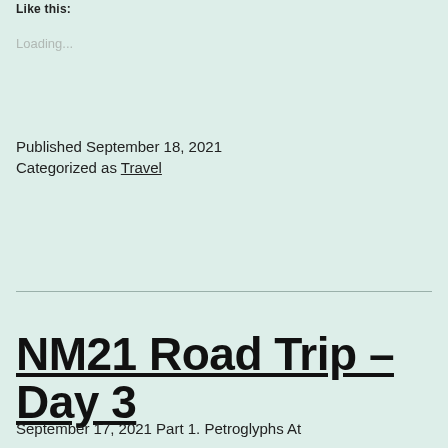Like this:
Loading...
Published September 18, 2021
Categorized as Travel
NM21 Road Trip – Day 3
September 17, 2021 Part 1. Petroglyphs At